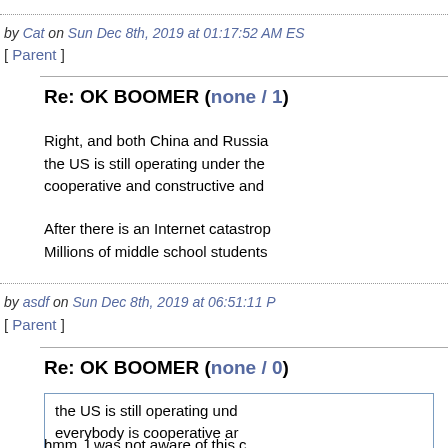by Cat on Sun Dec 8th, 2019 at 01:17:52 AM ES
[ Parent ]
Re: OK BOOMER (none / 1)
Right, and both China and Russia the US is still operating under the cooperative and constructive and
After there is an Internet catastrop Millions of middle school students
by asdf on Sun Dec 8th, 2019 at 06:51:11 P
[ Parent ]
Re: OK BOOMER (none / 0)
the US is still operating und everybody is cooperative ar
hmm, I was not aware of this c